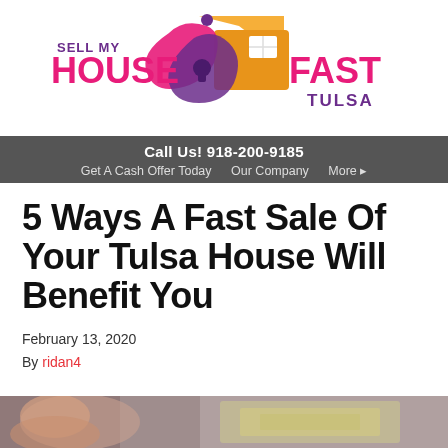[Figure (logo): Sell My House Fast Tulsa logo with colorful house graphic]
Call Us! 918-200-9185  Get A Cash Offer Today  Our Company  More
5 Ways A Fast Sale Of Your Tulsa House Will Benefit You
February 13, 2020
By ridan4
[Figure (photo): Partial photo at bottom of page, person and money visible]